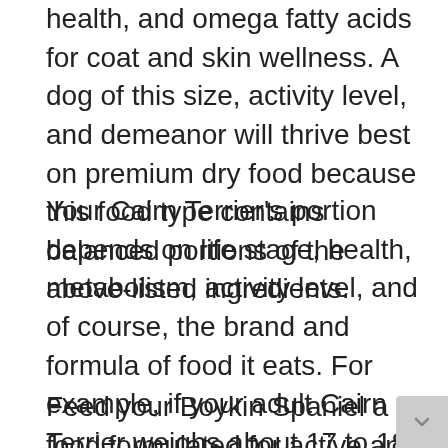health, and omega fatty acids for coat and skin wellness. A dog of this size, activity level, and demeanor will thrive best on premium dry food because this food type contains balanced portions of the above-listed ingredients.
Your Cairn Terrier's portion depends on life stage, health, metabolism, activity level, and of course, the brand and formula of food it eats. For example, if your adult Cairn Terrier weighs about 17 to 18 pounds, you will need to feed it somewhere around 830 calories per day.
Feed your Boykin Spaniel a food formulated for active and medium to large working dog breeds, recipes for puppies, adults and seniors, or look